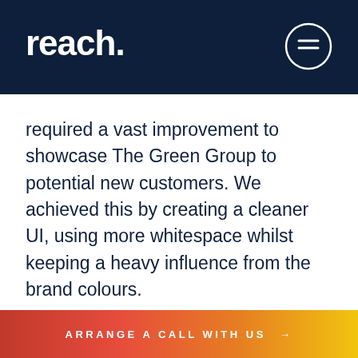reach.
required a vast improvement to showcase The Green Group to potential new customers. We achieved this by creating a cleaner UI, using more whitespace whilst keeping a heavy influence from the brand colours.
ARRANGE A CALL WITH US →